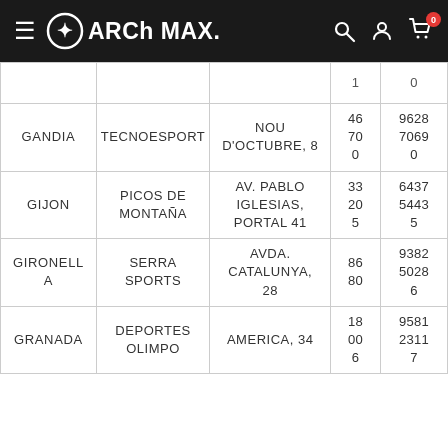ARCh MAX
| CITY | STORE | ADDRESS | CP | PHONE |
| --- | --- | --- | --- | --- |
|  |  |  | 1 | 0 |
| GANDIA | TECNOESPORT | NOU D'OCTUBRE, 8 | 46700 | 96287069 0 |
| GIJON | PICOS DE MONTAÑA | AV. PABLO IGLESIAS, PORTAL 41 | 33205 | 6437 5443 5 |
| GIRONELLA | SERRA SPORTS | AVDA. CATALUNYA, 28 | 8680 | 9382 5028 6 |
| GRANADA | DEPORTES OLIMPO | AMERICA, 34 | 18006 | 9581 2311 7 |